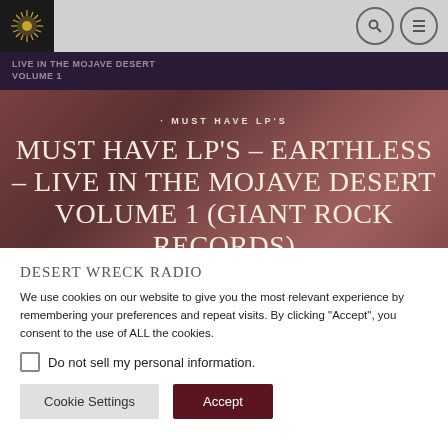Desert Wreck Radio — Live in the Mojave Desert Volume 1
MUST HAVE LP'S
MUST HAVE LP'S – EARTHLESS – LIVE IN THE MOJAVE DESERT VOLUME 1 (GIANT ROCK RECORDS)
DESERT WRECK RADIO
We use cookies on our website to give you the most relevant experience by remembering your preferences and repeat visits. By clicking "Accept", you consent to the use of ALL the cookies.
Do not sell my personal information.
Cookie Settings | Accept